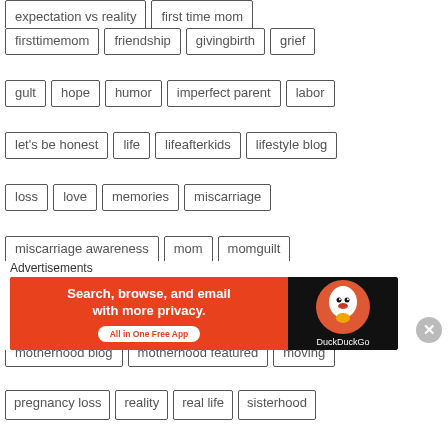expectation vs reality
first time mom
firsttimemom
friendship
givingbirth
grief
gult
hope
humor
imperfect parent
labor
let's be honest
life
lifeafterkids
lifestyle blog
loss
love
memories
miscarriage
miscarriage awareness
mom
momguilt
mommy
momstories
mother
motherhood
motherhood blog
motherhood featured
moving
new house
new life
new mom
pain
parenthood
photographs
pregnancy
pregnancy loss
reality
real life
sisterhood
Advertisements
[Figure (screenshot): DuckDuckGo advertisement banner: 'Search, browse, and email with more privacy. All in One Free App' with DuckDuckGo logo on dark background]